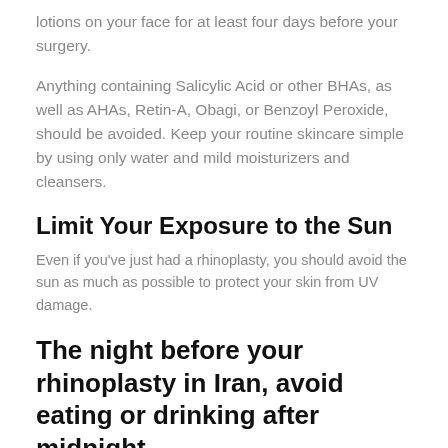lotions on your face for at least four days before your surgery.
Anything containing Salicylic Acid or other BHAs, as well as AHAs, Retin-A, Obagi, or Benzoyl Peroxide, should be avoided. Keep your routine skincare simple by using only water and mild moisturizers and cleansers.
Limit Your Exposure to the Sun
Even if you've just had a rhinoplasty, you should avoid the sun as much as possible to protect your skin from UV damage.
The night before your rhinoplasty in Iran, avoid eating or drinking after midnight